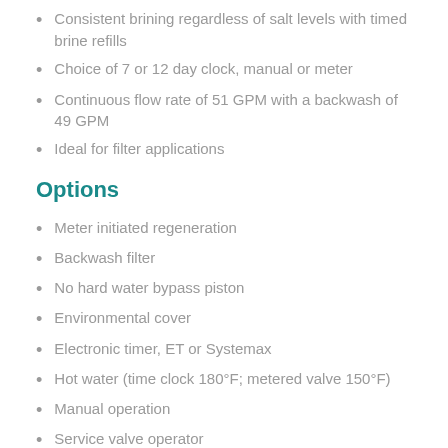Consistent brining regardless of salt levels with timed brine refills
Choice of 7 or 12 day clock, manual or meter
Continuous flow rate of 51 GPM with a backwash of 49 GPM
Ideal for filter applications
Options
Meter initiated regeneration
Backwash filter
No hard water bypass piston
Environmental cover
Electronic timer, ET or Systemax
Hot water (time clock 180°F; metered valve 150°F)
Manual operation
Service valve operator
Auxiliary switch